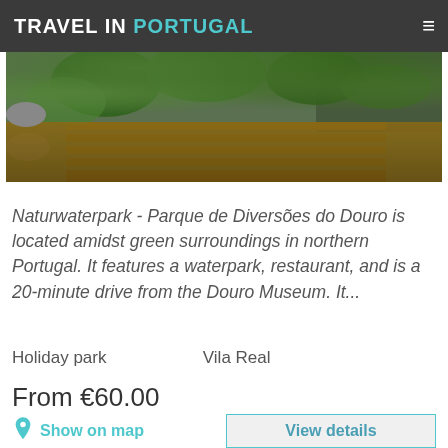TRAVEL IN PORTUGAL
[Figure (photo): Outdoor nature park photo showing green plants and wooden deck/terrace area at Naturwaterpark - Parque de Diversões do Douro]
Naturwaterpark - Parque de Diversões do Douro is located amidst green surroundings in northern Portugal. It features a waterpark, restaurant, and is a 20-minute drive from the Douro Museum. It...
Holiday park   Vila Real
From €60.00
Show on map
View details